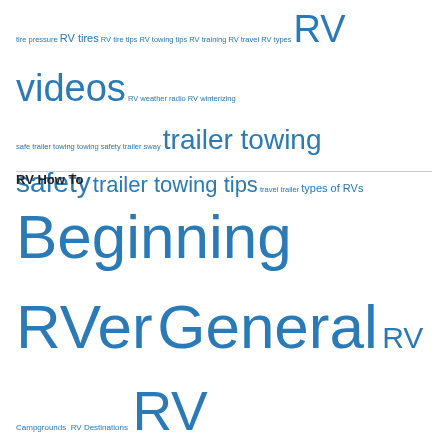tire pressure RV tires RV tire tips RV towing tips RV training RV travel RV types RV videos RV weather radio RV winterizing safe trailer towing towing safety trailer sway trailer towing safety trailer towing tips travel trailer types of RVs
RV How To
Beginning RVer General RV Campgrounds RV Destinations RV Maintenance RV products RV Safety RV Tips & Hints RV Types Trailer Towing Topics